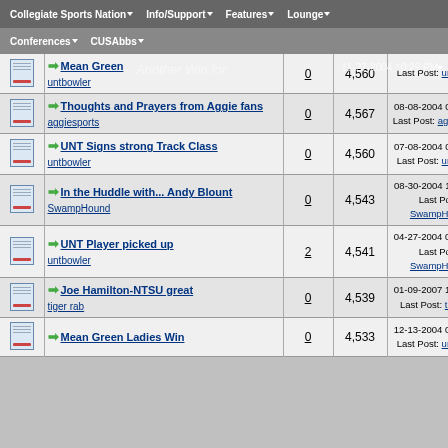Collegiate Sports Nation | Info/Support | Features | Lounge
Conferences | CUSAbbs
|  | Thread Title / Author | Replies | Views | Last Post |
| --- | --- | --- | --- | --- |
| [icon] | → [untitled/Mean Green]
untbowler | 0 | 4,560 | 11-27-2004 10:29 PM
Last Post: untbowler |
| [icon] | → Thoughts and Prayers from Aggie fans
aggiesports | 0 | 4,567 | 08-08-2004 09:48 AM
Last Post: aggiesports |
| [icon] | → UNT Signs strong Track Class
untbowler | 0 | 4,560 | 07-08-2004 08:08 AM
Last Post: untbowler |
| [icon] | → In the Huddle with... Andy Blount
SwampHound | 0 | 4,543 | 08-30-2004 12:04 AM
Last Post: SwampHound |
| [icon] | → UNT Player picked up
untbowler | 2 | 4,541 | 04-27-2004 05:24 PM
Last Post: SwampHound |
| [icon] | → Joe Hamilton-NTSU great
tiger rab | 0 | 4,539 | 01-09-2007 12:20 PM
Last Post: tiger rab |
| [icon] | → Mean Green Ladies Win
 | 0 | 4,533 | 12-13-2004 03:56 PM
Last Post: untbowler |